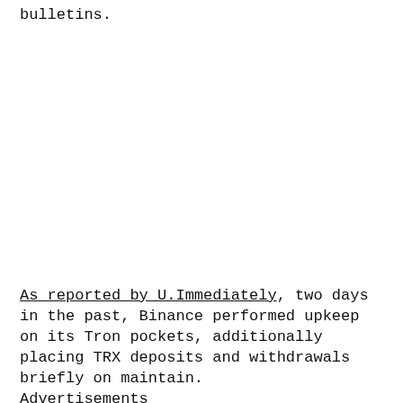bulletins.
As reported by U.Immediately, two days in the past, Binance performed upkeep on its Tron pockets, additionally placing TRX deposits and withdrawals briefly on maintain. Advertisements